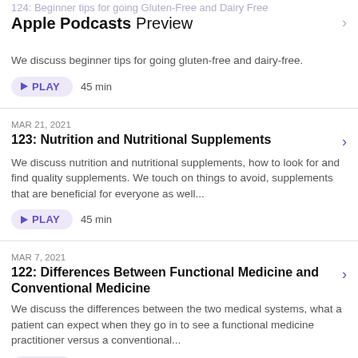Apple Podcasts Preview
124: Beginner tips for going Gluten-Free and Dairy Free
We discuss beginner tips for going gluten-free and dairy-free.
PLAY  45 min
MAR 21, 2021
123: Nutrition and Nutritional Supplements
We discuss nutrition and nutritional supplements, how to look for and find quality supplements. We touch on things to avoid, supplements that are beneficial for everyone as well...
PLAY  45 min
MAR 7, 2021
122: Differences Between Functional Medicine and Conventional Medicine
We discuss the differences between the two medical systems, what a patient can expect when they go in to see a functional medicine practitioner versus a conventional...
PLAY  47 min
Show 10 More Episodes